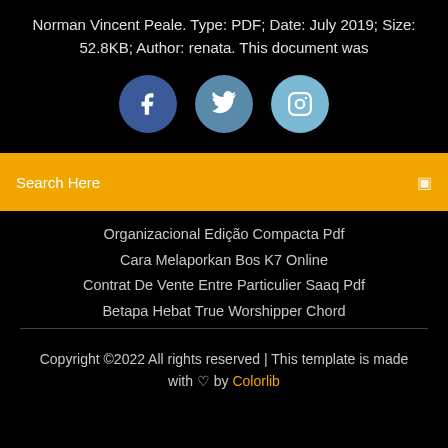Norman Vincent Peale. Type: PDF; Date: July 2019; Size: 52.8KB; Author: renata. This document was
[Figure (other): Three social media icon buttons: Facebook (dark blue circle with f), Twitter (medium blue circle with bird), Instagram (light blue circle with camera icon)]
Search Here
Organizacional Edição Compacta Pdf
Cara Melaporkan Bos K7 Online
Contrat De Vente Entre Particulier Saaq Pdf
Betapa Hebat True Worshipper Chord
Copyright ©2022 All rights reserved | This template is made with ♡ by Colorlib